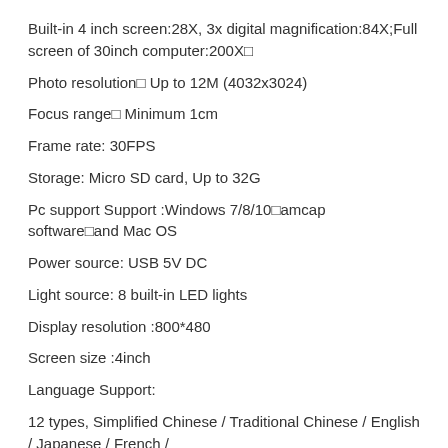Built-in 4 inch screen:28X, 3x digital magnification:84X;Full screen of 30inch computer:200X□
Photo resolution□ Up to 12M (4032x3024)
Focus range□ Minimum 1cm
Frame rate: 30FPS
Storage: Micro SD card, Up to 32G
Pc support Support :Windows 7/8/10□amcap software□and Mac OS
Power source: USB 5V DC
Light source: 8 built-in LED lights
Display resolution :800*480
Screen size :4inch
Language Support:
12 types, Simplified Chinese / Traditional Chinese / English / Japanese / French /
German / Korean / Vietnamese / Portuguese / Russian /